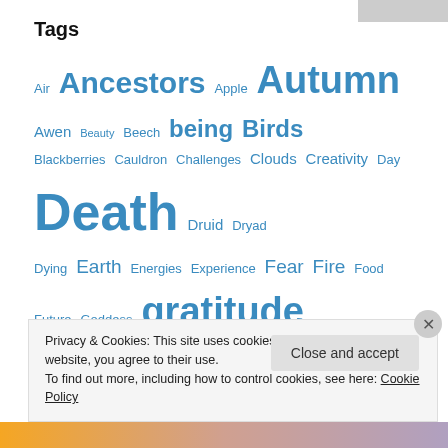Tags
Air Ancestors Apple Autumn Awen Beauty Beech being Birds Blackberries Cauldron Challenges Clouds Creativity Day Death Druid Dryad Dying Earth Energies Experience Fear Fire Food Future Goddess gratitude Grief Harvest Heart Hope Journey Knowing Lessons life Light Listening Living Loss Love Meaning Memories Memory Mother Musics Mystery Night Oak Orchard Photos Poetry Presence Rain Renewal Seasons Seeing Sensing Sky Soul Spirits of the Land Summer The gods
Privacy & Cookies: This site uses cookies. By continuing to use this website, you agree to their use.
To find out more, including how to control cookies, see here: Cookie Policy